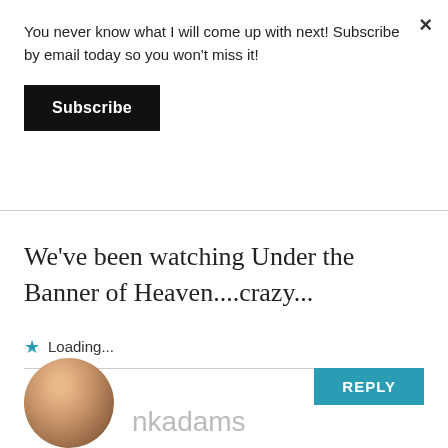You never know what I will come up with next! Subscribe by email today so you won't miss it!
Subscribe
We've been watching Under the Banner of Heaven....crazy...
Loading...
REPLY
[Figure (photo): Partial circular avatar photo of a person, cropped at bottom of page, with partial username 'nkadams' visible]
nkadams